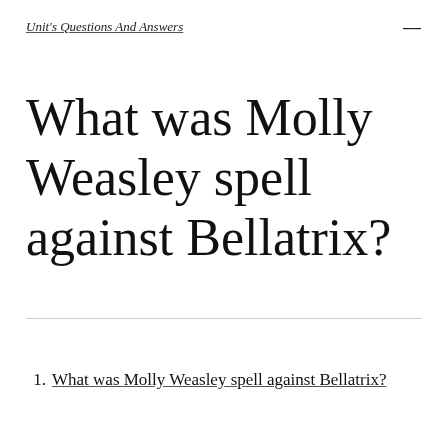Unit's Questions And Answers
What was Molly Weasley spell against Bellatrix?
What was Molly Weasley spell against Bellatrix?